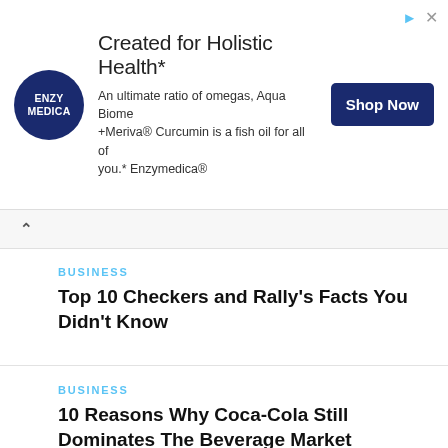[Figure (infographic): Enzymedica advertisement banner. Logo: circular dark navy badge with ENZY MEDICA text. Headline: Created for Holistic Health*. Body: An ultimate ratio of omegas, Aqua Biome +Meriva® Curcumin is a fish oil for all of you.* Enzymedica®. Button: Shop Now.]
BUSINESS
Top 10 Checkers and Rally's Facts You Didn't Know
BUSINESS
10 Reasons Why Coca-Cola Still Dominates The Beverage Market
BUSINESS
Top 10 Best Fast Food Restaurants in 2021